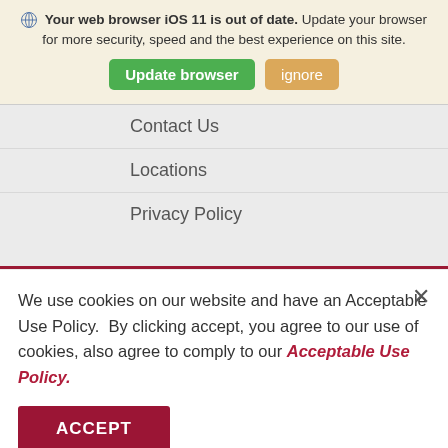🌐 Your web browser iOS 11 is out of date. Update your browser for more security, speed and the best experience on this site.
[Figure (screenshot): Two buttons: a green 'Update browser' button and a tan/golden 'ignore' button]
Contact Us
Locations
Privacy Policy
We use cookies on our website and have an Acceptable Use Policy.  By clicking accept, you agree to our use of cookies, also agree to comply to our Acceptable Use Policy.
[Figure (screenshot): A dark red/maroon 'ACCEPT' button]